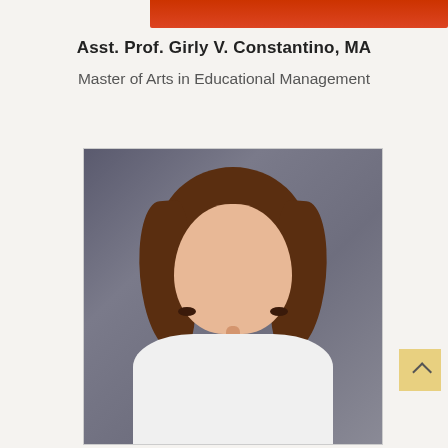[Figure (photo): Partial view of a red-colored image at the top of the page (previous profile photo cropped)]
Asst. Prof. Girly V. Constantino, MA
Master of Arts in Educational Management
[Figure (photo): Professional headshot of Asst. Prof. Girly V. Constantino, a woman with shoulder-length brown hair, wearing a white collared top, photographed against a dark grey background]